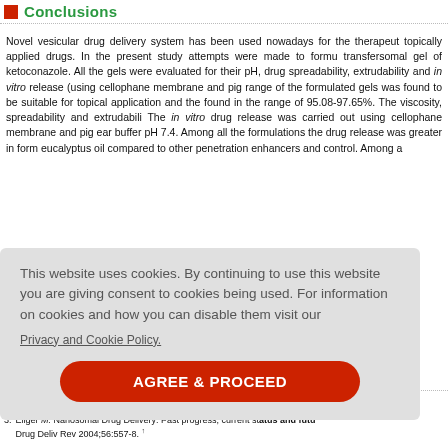Conclusions
Novel vesicular drug delivery system has been used nowadays for the therapeutic topically applied drugs. In the present study attempts were made to formulate transfersomal gel of ketoconazole. All the gels were evaluated for their pH, drug spreadability, extrudability and in vitro release (using cellophane membrane and pig ear range of the formulated gels was found to be suitable for topical application and the found in the range of 95.08-97.65%. The viscosity, spreadability and extrudability. The in vitro drug release was carried out using cellophane membrane and pig ear buffer pH 7.4. Among all the formulations the drug release was greater in form eucalyptus oil compared to other penetration enhancers and control. Among a ermint oil,
This website uses cookies. By continuing to use this website you are giving consent to cookies being used. For information on cookies and how you can disable them visit our Privacy and Cookie Policy. AGREE & PROCEED
manual Prof
[Last acce
Drug Delivery: Past progress, current status and future Drug Deliv Rev 2004;56:557-8.